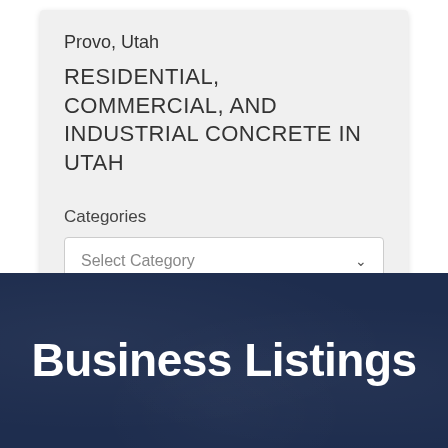Provo, Utah
RESIDENTIAL, COMMERCIAL, AND INDUSTRIAL CONCRETE IN UTAH
Categories
Select Category
Business Listings